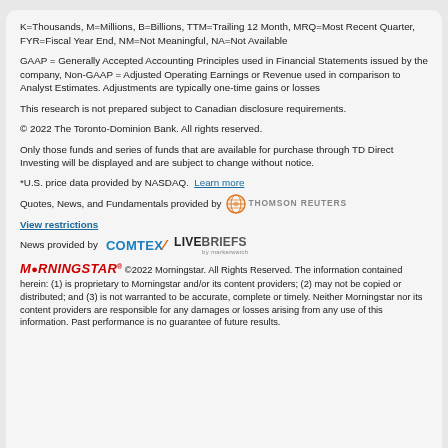K=Thousands, M=Millions, B=Billions, TTM=Trailing 12 Month, MRQ=Most Recent Quarter, FYR=Fiscal Year End, NM=Not Meaningful, NA=Not Available
GAAP = Generally Accepted Accounting Principles used in Financial Statements issued by the company, Non-GAAP = Adjusted Operating Earnings or Revenue used in comparison to Analyst Estimates. Adjustments are typically one-time gains or losses
This research is not prepared subject to Canadian disclosure requirements.
© 2022 The Toronto-Dominion Bank. All rights reserved.
Only those funds and series of funds that are available for purchase through TD Direct Investing will be displayed and are subject to change without notice.
*U.S. price data provided by NASDAQ.  Learn more
Quotes, News, and Fundamentals provided by  THOMSON REUTERS  View restrictions
[Figure (logo): Thomson Reuters globe logo]
News provided by  COMTEX  LIVEBRIEFS
[Figure (logo): Comtex logo]
[Figure (logo): LiveBriefs logo]
MORNINGSTAR® ©2022 Morningstar. All Rights Reserved. The information contained herein: (1) is proprietary to Morningstar and/or its content providers; (2) may not be copied or distributed; and (3) is not warranted to be accurate, complete or timely. Neither Morningstar nor its content providers are responsible for any damages or losses arising from any use of this information. Past performance is no guarantee of future results.